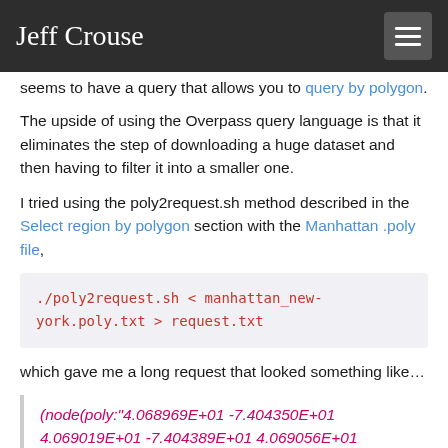Jeff Crouse
seems to have a query that allows you to query by polygon.
The upside of using the Overpass query language is that it eliminates the step of downloading a huge dataset and then having to filter it into a smaller one.
I tried using the poly2request.sh method described in the Select region by polygon section with the Manhattan .poly file,
./poly2request.sh < manhattan_new-york.poly.txt > request.txt
which gave me a long request that looked something like…
(node(poly:"4.068969E+01 -7.404350E+01 4.069019E+01 -7.404389E+01 4.069056E+01